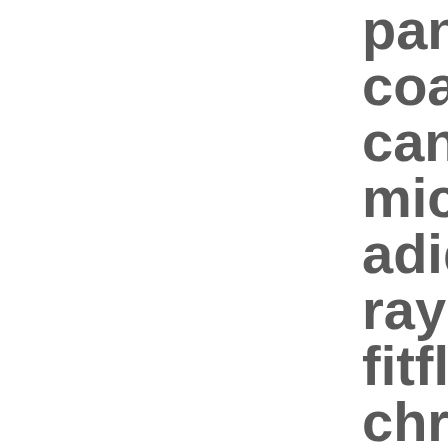pandora
coach o
canada
michael
adidas o
ray ban
fitflops
christia
mulbern
christia
micha